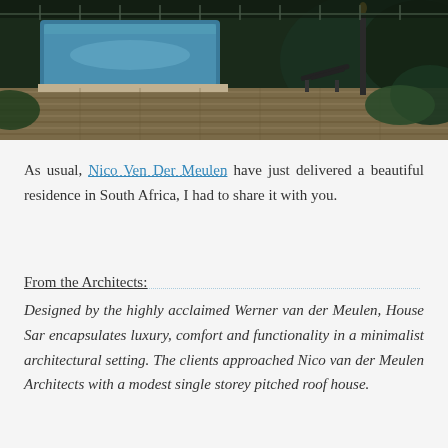[Figure (photo): Exterior night photograph of a modern residence showing a swimming pool with blue water, wooden decking, outdoor chair, and lush greenery in South Africa]
As usual, Nico Ven Der Meulen have just delivered a beautiful residence in South Africa, I had to share it with you.
From the Architects:
Designed by the highly acclaimed Werner van der Meulen, House Sar encapsulates luxury, comfort and functionality in a minimalist architectural setting. The clients approached Nico van der Meulen Architects with a modest single storey pitched roof house.